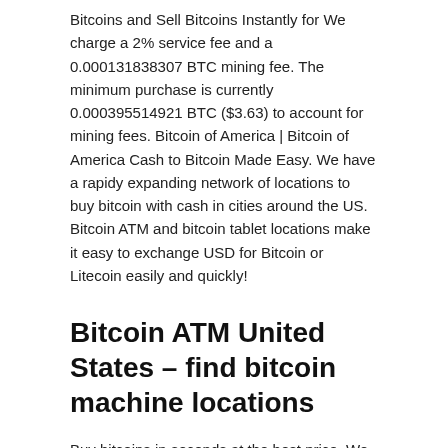Bitcoins and Sell Bitcoins Instantly for We charge a 2% service fee and a 0.000131838307 BTC mining fee. The minimum purchase is currently 0.000395514921 BTC ($3.63) to account for mining fees. Bitcoin of America | Bitcoin of America Cash to Bitcoin Made Easy. We have a rapidy expanding network of locations to buy bitcoin with cash in cities around the US. Bitcoin ATM and bitcoin tablet locations make it easy to exchange USD for Bitcoin or Litecoin easily and quickly!
Bitcoin ATM United States – find bitcoin machine locations
Buy bitcoins in seconds at the best price. We accept credit card. From home, with the ease, security and speed that only Bit2Me brings you. Up to 20000 € per day. You should definitely consider Bitquick if you are willing to buy Bitcoins with cash deposits without submitting any ID proof. Bitquick acts as an excellent escrow system launched in the year 2013